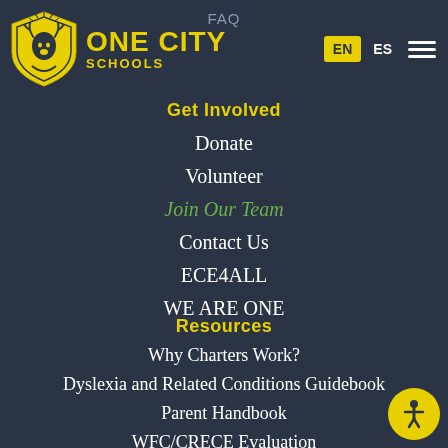FAQ
[Figure (logo): One City Schools shield logo in yellow]
ONE CITY SCHOOLS
EN ES
Get Involved
Donate
Volunteer
Join Our Team
Contact Us
ECE4ALL
WE ARE ONE
Resources
Why Charters Work?
Dyslexia and Related Conditions Guidebook
Parent Handbook
WFC/CRECE Evaluation